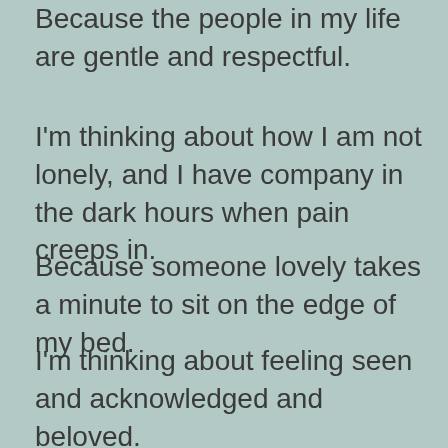Because the people in my life are gentle and respectful.
I'm thinking about how I am not lonely, and I have company in the dark hours when pain creeps in.
Because someone lovely takes a minute to sit on the edge of my bed.
I'm thinking about feeling seen and acknowledged and beloved.
Because those who have known me over the years show me that they understand exactly